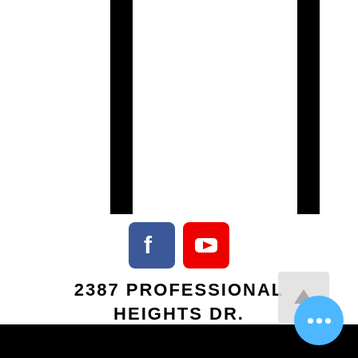[Figure (illustration): Top section with two vertical black bars on white background, resembling a letterhead or brochure frame]
[Figure (logo): Facebook and YouTube social media icons side by side]
2387 PROFESSIONAL HEIGHTS DR. SUITE 15 LEXINGTON, KY 405
[Figure (illustration): Back to top arrow button (light gray box with upward arrow)]
[Figure (illustration): Blue circle more button with three white dots]
[Figure (illustration): Bottom black bar]